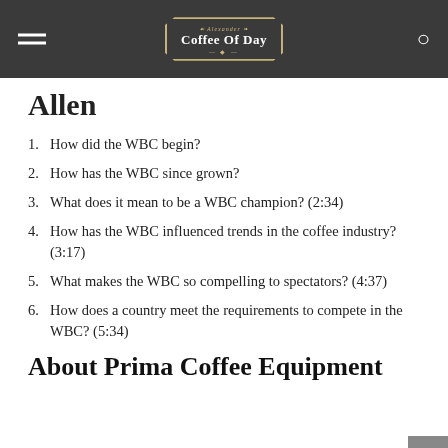Coffee Of Day
Allen
How did the WBC begin?
How has the WBC since grown?
What does it mean to be a WBC champion? (2:34)
How has the WBC influenced trends in the coffee industry? (3:17)
What makes the WBC so compelling to spectators? (4:37)
How does a country meet the requirements to compete in the WBC? (5:34)
About Prima Coffee Equipment